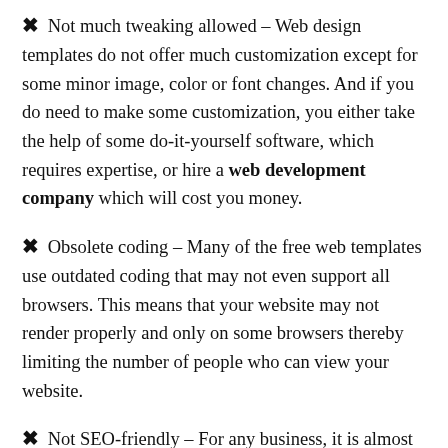✖ Not much tweaking allowed – Web design templates do not offer much customization except for some minor image, color or font changes. And if you do need to make some customization, you either take the help of some do-it-yourself software, which requires expertise, or hire a web development company which will cost you money.
✖ Obsolete coding – Many of the free web templates use outdated coding that may not even support all browsers. This means that your website may not render properly and only on some browsers thereby limiting the number of people who can view your website.
✖ Not SEO-friendly – For any business, it is almost an absolute necessity to have a search engine presence and...